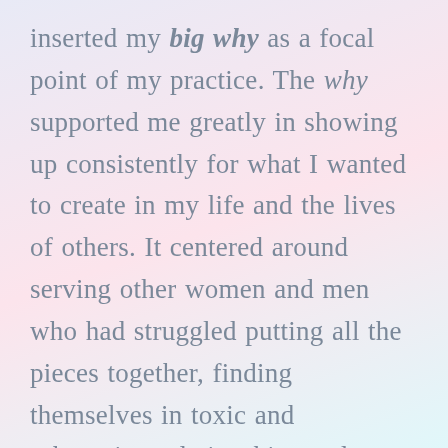inserted my big why as a focal point of my practice. The why supported me greatly in showing up consistently for what I wanted to create in my life and the lives of others. It centered around serving other women and men who had struggled putting all the pieces together, finding themselves in toxic and sabotaging relationships and patterns, and void filling tendencies, feeling like nothing was enough. I wanted them to know that, if I could get out of the toxic patterns I was participating in, they could do it too and together we could live passionate and heart-centered lives, as conscious participants spreading the ripple effect of love from the world that we could live...